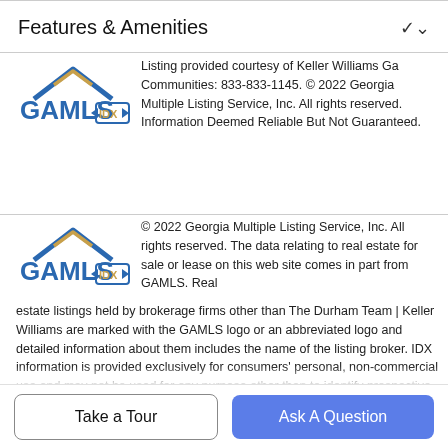Features & Amenities
[Figure (logo): GAMLS IDX logo - blue house outline with gold roof accent and blue GAMLS text with IDX box]
Listing provided courtesy of Keller Williams Ga Communities: 833-833-1145. © 2022 Georgia Multiple Listing Service, Inc. All rights reserved. Information Deemed Reliable But Not Guaranteed.
[Figure (logo): GAMLS IDX logo - blue house outline with gold roof accent and blue GAMLS text with IDX box]
© 2022 Georgia Multiple Listing Service, Inc. All rights reserved. The data relating to real estate for sale or lease on this web site comes in part from GAMLS. Real estate listings held by brokerage firms other than The Durham Team | Keller Williams are marked with the GAMLS logo or an abbreviated logo and detailed information about them includes the name of the listing broker. IDX information is provided exclusively for consumers' personal, non-commercial use and may not be used for any purpose other than to identify prospective properties
Take a Tour
Ask A Question